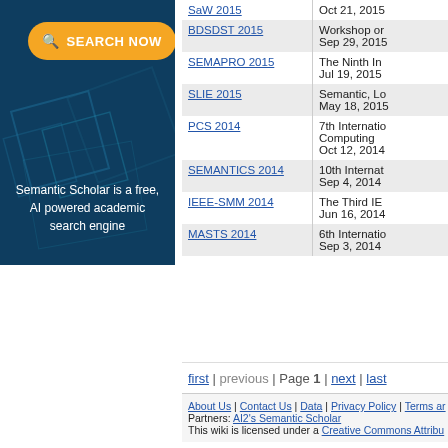[Figure (screenshot): Semantic Scholar search panel with orange 'SEARCH NOW' button on dark blue background]
| Conference | Info |
| --- | --- |
| SaW 2015 | Oct 21, 2015 |
| BDSDST 2015 | Workshop on
Sep 29, 2015 |
| SEMAPRO 2015 | The Ninth In...
Jul 19, 2015 |
| SLIE 2015 | Semantic, Lo...
May 18, 2015 |
| PCS 2014 | 7th Internatio... Computing
Oct 12, 2014 |
| SEMANTICS 2014 | 10th Internat...
Sep 4, 2014 |
| IEEE-SMM 2014 | The Third IE...
Jun 16, 2014 |
| MASTS 2014 | 6th Internatio...
Sep 3, 2014 |
first | previous | Page 1 | next | last
About Us | Contact Us | Data | Privacy Policy | Terms ar... Partners: AI2's Semantic Scholar This wiki is licensed under a Creative Commons Attribu...